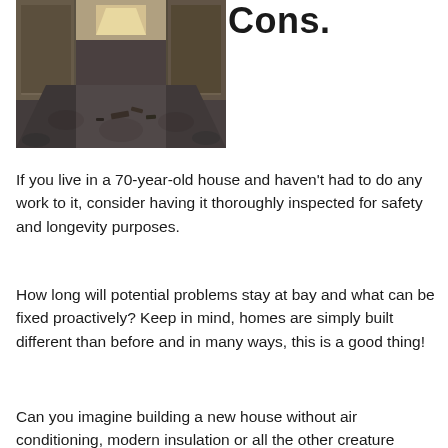Cons.
[Figure (photo): Interior hallway of an old building with worn carpet featuring a circular pattern, debris scattered on the floor, dim lighting, and wooden doors on either side.]
If you live in a 70-year-old house and haven't had to do any work to it, consider having it thoroughly inspected for safety and longevity purposes.
How long will potential problems stay at bay and what can be fixed proactively? Keep in mind, homes are simply built different than before and in many ways, this is a good thing!
Can you imagine building a new house without air conditioning, modern insulation or all the other creature